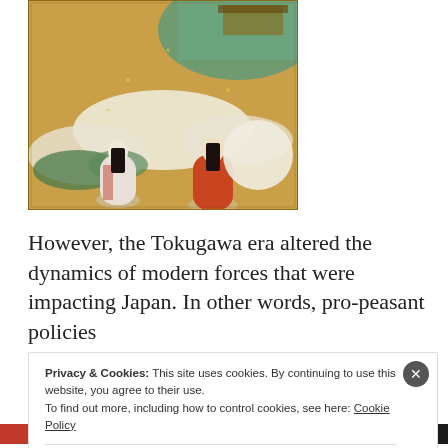[Figure (illustration): Japanese painting depicting figures in traditional court dress (Heian period style) in an outdoor scene with gold background, pine trees, and white clouds or ground cover. Two or three women in layered kimono robes are shown.]
However, the Tokugawa era altered the dynamics of modern forces that were impacting Japan. In other words, pro-peasant policies
Privacy & Cookies: This site uses cookies. By continuing to use this website, you agree to their use.
To find out more, including how to control cookies, see here: Cookie Policy
Close and accept